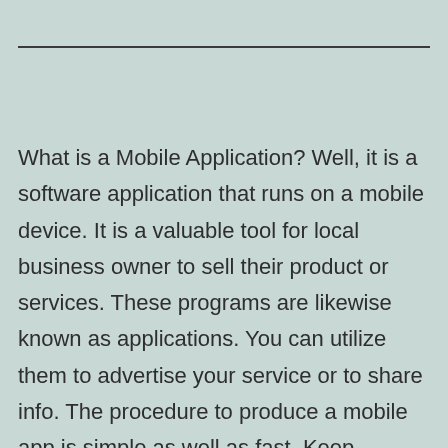What is a Mobile Application? Well, it is a software application that runs on a mobile device. It is a valuable tool for local business owner to sell their product or services. These programs are likewise known as applications. You can utilize them to advertise your service or to share info. The procedure to produce a mobile app is simple as well as fast. Keep reading to find out more. Below are some ways